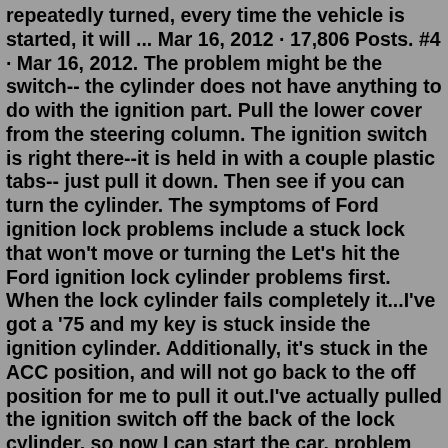repeatedly turned, every time the vehicle is started, it will ... Mar 16, 2012 · 17,806 Posts. #4 · Mar 16, 2012. The problem might be the switch-- the cylinder does not have anything to do with the ignition part. Pull the lower cover from the steering column. The ignition switch is right there--it is held in with a couple plastic tabs-- just pull it down. Then see if you can turn the cylinder. The symptoms of Ford ignition lock problems include a stuck lock that won't move or turning the Let's hit the Ford ignition lock cylinder problems first. When the lock cylinder fails completely it...I've got a '75 and my key is stuck inside the ignition cylinder. Additionally, it's stuck in the ACC position, and will not go back to the off position for me to pull it out.I've actually pulled the ignition switch off the back of the lock cylinder, so now I can start the car, problem being, the steering wheel is still locked.May 31, 2010 · Remove the ignition cylinder. This is done by turning the key to the ON position and insert a small Allen or drill bit into the hole on top of the cylinder. When you push down the tab